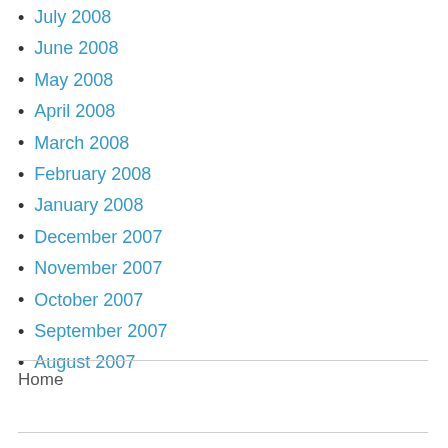July 2008
June 2008
May 2008
April 2008
March 2008
February 2008
January 2008
December 2007
November 2007
October 2007
September 2007
August 2007
Home